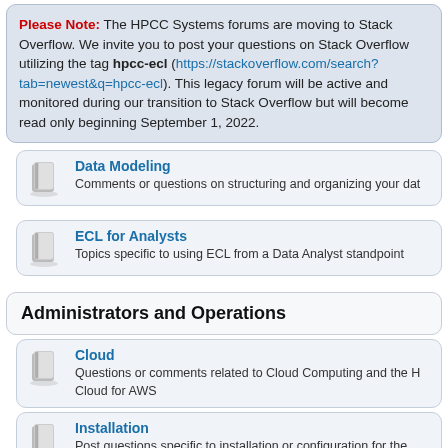Please Note: The HPCC Systems forums are moving to Stack Overflow. We invite you to post your questions on Stack Overflow utilizing the tag hpcc-ecl (https://stackoverflow.com/search?tab=newest&q=hpcc-ecl). This legacy forum will be active and monitored during our transition to Stack Overflow but will become read only beginning September 1, 2022.
Data Modeling
Comments or questions on structuring and organizing your dat
ECL for Analysts
Topics specific to using ECL from a Data Analyst standpoint
Administrators and Operations
Cloud
Questions or comments related to Cloud Computing and the H... Cloud for AWS
Installation
Post questions specific to installation or configuration for the...